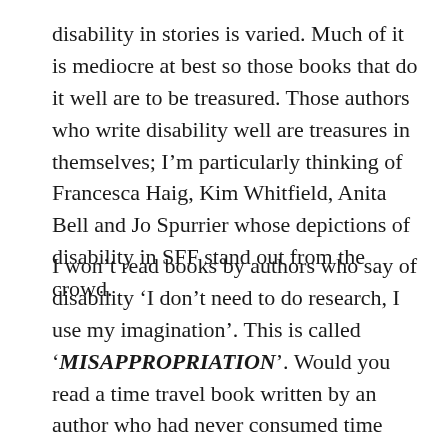disability in stories is varied. Much of it is mediocre at best so those books that do it well are to be treasured. Those authors who write disability well are treasures in themselves; I’m particularly thinking of Francesca Haig, Kim Whitfield, Anita Bell and Jo Spurrier whose depictions of disability in SFF stand out from the crowd.
I won’t read books by authors who say of disability ‘I don’t need to do research, I use my imagination’. This is called ‘MISAPPROPRIATION’. Would you read a time travel book written by an author who had never consumed time travel stories? Probably not because you’d expect the story to be deeply flawed, reinventing mistakes of bygone eras. Well, it’s worse for disability: